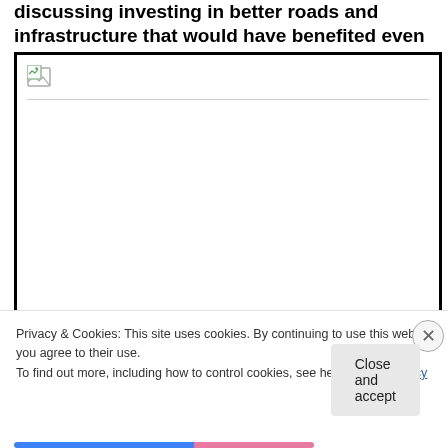discussing investing in better roads and infrastructure that would have benefited even the businesses.
[Figure (photo): A broken/unloaded image placeholder with a small broken image icon in the top-left corner and a horizontal divider line below it.]
Privacy & Cookies: This site uses cookies. By continuing to use this website, you agree to their use.
To find out more, including how to control cookies, see here: Cookie Policy
Close and accept